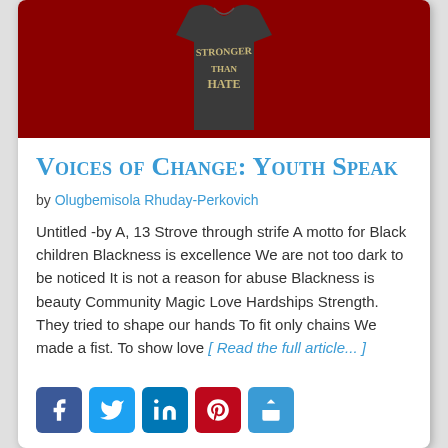[Figure (illustration): Dark gray t-shirt on red background with text 'STRONGER THAN HATE' written in handwritten style]
Voices of Change: Youth Speak
by Olugbemisola Rhuday-Perkovich
Untitled -by A, 13 Strove through strife A motto for Black children Blackness is excellence We are not too dark to be noticed It is not a reason for abuse Blackness is beauty Community Magic Love Hardships Strength. They tried to shape our hands To fit only chains We made a fist. To show love [ Read the full article... ]